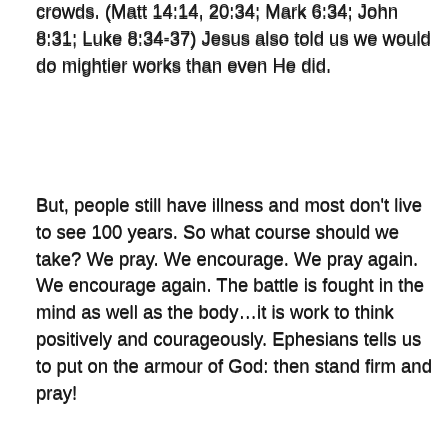crowds. (Matt 14:14, 20:34; Mark 6:34; John 8:31; Luke 8:34-37) Jesus also told us we would do mightier works than even He did.
But, people still have illness and most don't live to see 100 years. So what course should we take? We pray. We encourage. We pray again. We encourage again. The battle is fought in the mind as well as the body…it is work to think positively and courageously. Ephesians tells us to put on the armour of God: then stand firm and pray!
Eph 6:10-18 “Finally, be strong in the Lord and in his mighty power. Put on the full armor of God, so that you can take your stand against the devil’s schemes. For our struggle is not against flesh and blood, but against the rulers, against the authorities, against the powers of this dark world and against the spiritual forces of evil in the heavenly realms. Therefore put on the full armor of God,